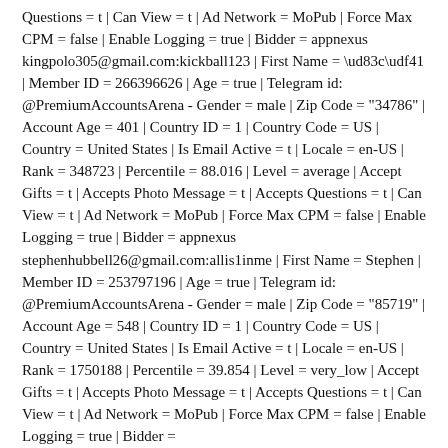Questions = t | Can View = t | Ad Network = MoPub | Force Max CPM = false | Enable Logging = true | Bidder = appnexus
kingpolo305@gmail.com:kickball123 | First Name = \ud83c\udf41 | Member ID = 266396626 | Age = true | Telegram id: @PremiumAccountsArena - Gender = male | Zip Code = "34786" | Account Age = 401 | Country ID = 1 | Country Code = US | Country = United States | Is Email Active = t | Locale = en-US | Rank = 348723 | Percentile = 88.016 | Level = average | Accept Gifts = t | Accepts Photo Message = t | Accepts Questions = t | Can View = t | Ad Network = MoPub | Force Max CPM = false | Enable Logging = true | Bidder = appnexus
stephenhubbell26@gmail.com:allis1inme | First Name = Stephen | Member ID = 253797196 | Age = true | Telegram id: @PremiumAccountsArena - Gender = male | Zip Code = "85719" | Account Age = 548 | Country ID = 1 | Country Code = US | Country = United States | Is Email Active = t | Locale = en-US | Rank = 1750188 | Percentile = 39.854 | Level = very_low | Accept Gifts = t | Accepts Photo Message = t | Accepts Questions = t | Can View = t | Ad Network = MoPub | Force Max CPM = false | Enable Logging = true | Bidder =